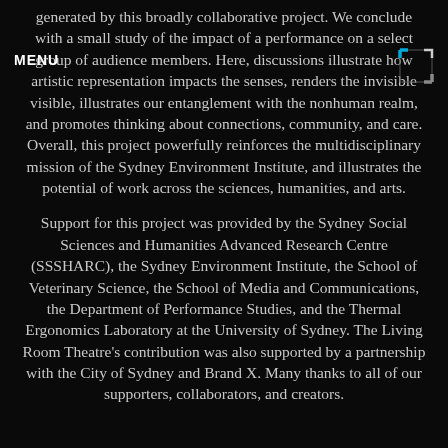MENU
generated by this broadly collaborative project. We conclude with a small study of the impact of a performance on a select group of audience members. Here, discussions illustrate how artistic representation impacts the senses, renders the invisible visible, illustrates our entanglement with the nonhuman realm, and promotes thinking about connections, community, and care. Overall, this project powerfully reinforces the multidisciplinary mission of the Sydney Environment Institute, and illustrates the potential of work across the sciences, humanities, and arts.
Support for this project was provided by the Sydney Social Sciences and Humanities Advanced Research Centre (SSSHARC), the Sydney Environment Institute, the School of Veterinary Science, the School of Media and Communications, the Department of Performance Studies, and the Thermal Ergonomics Laboratory at the University of Sydney. The Living Room Theatre's contribution was also supported by a partnership with the City of Sydney and Brand X. Many thanks to all of our supporters, collaborators, and creators.